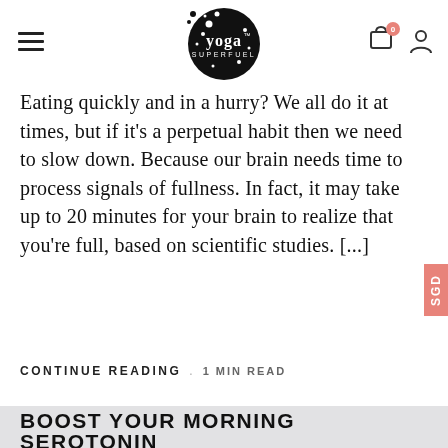yoga SUPERFUEL — navigation header with hamburger menu, logo, cart (0), and user icon
Eating quickly and in a hurry? We all do it at times, but if it's a perpetual habit then we need to slow down. Because our brain needs time to process signals of fullness. In fact, it may take up to 20 minutes for your brain to realize that you're full, based on scientific studies. [...]
CONTINUE READING · 1 MIN READ
BOOST YOUR MORNING SEROTONIN